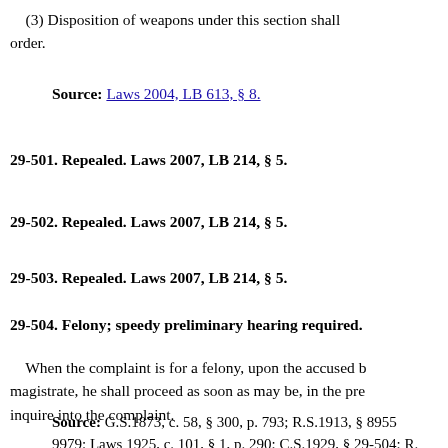(3) Disposition of weapons under this section shall order.
Source: Laws 2004, LB 613, § 8.
29-501. Repealed. Laws 2007, LB 214, § 5.
29-502. Repealed. Laws 2007, LB 214, § 5.
29-503. Repealed. Laws 2007, LB 214, § 5.
29-504. Felony; speedy preliminary hearing required.
When the complaint is for a felony, upon the accused b magistrate, he shall proceed as soon as may be, in the pre inquire into the complaint.
Source: G.S.1873, c. 58, § 300, p. 793; R.S.1913, § 8955 9979; Laws 1925, c. 101, § 1, p. 290; C.S.1929, § 29-504; R. 504; Laws 1972, LB 1032, § 168; Laws 1973, LB 226, § 16.